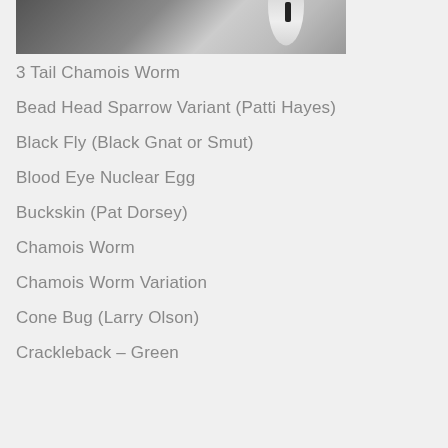[Figure (photo): Close-up photograph of a fishing fly lure showing dark body and light feathery wing/tail against a light background]
3 Tail Chamois Worm
Bead Head Sparrow Variant (Patti Hayes)
Black Fly (Black Gnat or Smut)
Blood Eye Nuclear Egg
Buckskin (Pat Dorsey)
Chamois Worm
Chamois Worm Variation
Cone Bug (Larry Olson)
Crackleback – Green